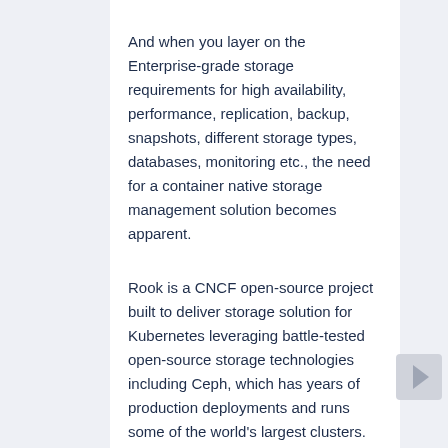And when you layer on the Enterprise-grade storage requirements for high availability, performance, replication, backup, snapshots, different storage types, databases, monitoring etc., the need for a container native storage management solution becomes apparent.
Rook is a CNCF open-source project built to deliver storage solution for Kubernetes leveraging battle-tested open-source storage technologies including Ceph, which has years of production deployments and runs some of the world's largest clusters. Rook is available under